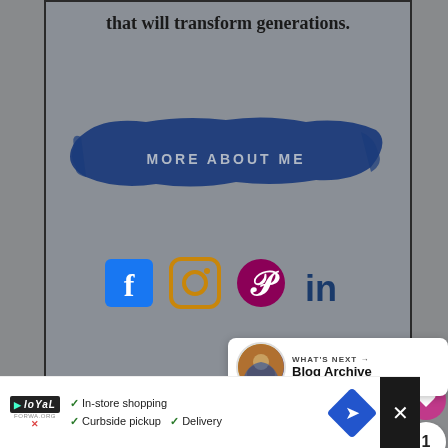that will transform generations.
[Figure (illustration): Dark navy blue brush stroke with text MORE ABOUT ME in light gray uppercase letters]
[Figure (illustration): Social media icons row: Facebook (blue square with f), Instagram (gold camera icon), Pinterest (dark red P icon), LinkedIn (navy 'in' text)]
[Figure (illustration): Heart/like button (pink circle with heart), count bubble showing 1, share button circle]
[Figure (illustration): What's Next banner: avatar photo, WHAT'S NEXT arrow, Blog Archive text]
[Figure (screenshot): Ad bar: Loyal logo, checkmarks for In-store shopping, Curbside pickup, Delivery, navigation icon, close X]
[Figure (illustration): Blue section partially visible at bottom with orange/gold decorative element]